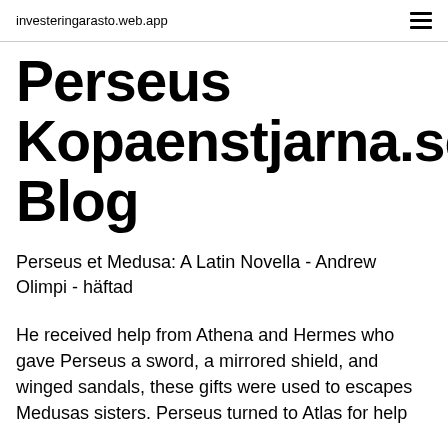investeringarasto.web.app
Perseus Kopaenstjarna.se Blog
Perseus et Medusa: A Latin Novella - Andrew Olimpi - häftad
He received help from Athena and Hermes who gave Perseus a sword, a mirrored shield, and winged sandals, these gifts were used to escapes Medusas sisters. Perseus turned to Atlas for help